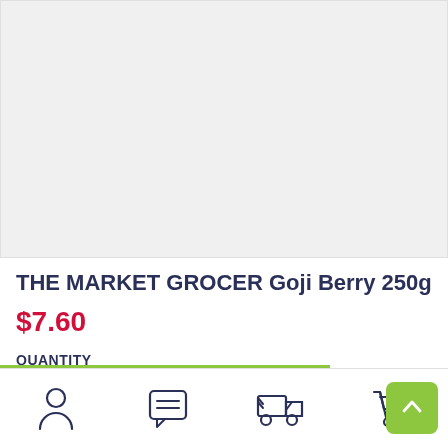[Figure (photo): Product image placeholder area, light gray background]
THE MARKET GROCER Goji Berry 250g
$7.60
QUANTITY
[Figure (other): Bottom navigation bar with icons: user/account, chat/messages, delivery truck, shopping cart, and a green scroll-to-top button]